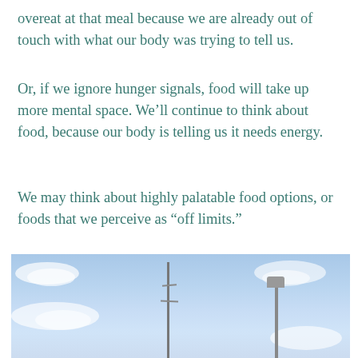overeat at that meal because we are already out of touch with what our body was trying to tell us.
Or, if we ignore hunger signals, food will take up more mental space. We’ll continue to think about food, because our body is telling us it needs energy.
We may think about highly palatable food options, or foods that we perceive as “off limits.”
[Figure (photo): Outdoor photo showing a blue sky with white clouds and two tall metal towers or poles against the sky.]